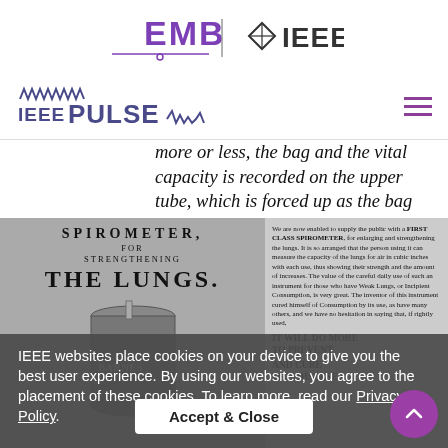EMB | IEEE logos
IEEE PULSE
more or less, the bag and the vital capacity is recorded on the upper tube, which is forced up as the bag expands. The bag is enclosed in a tin cylinder, shut at both ends with two holes for the tubes.
[Figure (photo): Vintage advertisement for a spirometer for strengthening the lungs, showing a cylindrical device labeled Barnes, with text 'IT WILL DO MORE TO PREVENT AND CURE THIS DISEASE']
IEEE websites place cookies on your device to give you the best user experience. By using our websites, you agree to the placement of these cookies. To learn more, read our Privacy Policy.
Accept & Close